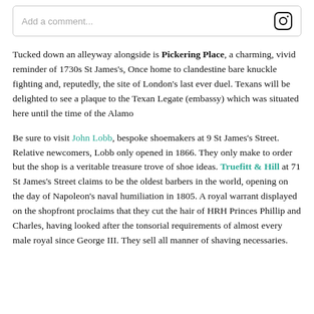[Figure (screenshot): Instagram comment input box with camera icon on the right]
Tucked down an alleyway alongside is Pickering Place, a charming, vivid reminder of 1730s St James's, Once home to clandestine bare knuckle fighting and, reputedly, the site of London's last ever duel. Texans will be delighted to see a plaque to the Texan Legate (embassy) which was situated here until the time of the Alamo
Be sure to visit John Lobb, bespoke shoemakers at 9 St James's Street. Relative newcomers, Lobb only opened in 1866. They only make to order but the shop is a veritable treasure trove of shoe ideas. Truefitt & Hill at 71 St James's Street claims to be the oldest barbers in the world, opening on the day of Napoleon's naval humiliation in 1805. A royal warrant displayed on the shopfront proclaims that they cut the hair of HRH Princes Phillip and Charles, having looked after the tonsorial requirements of almost every male royal since George III. They sell all manner of shaving necessaries.